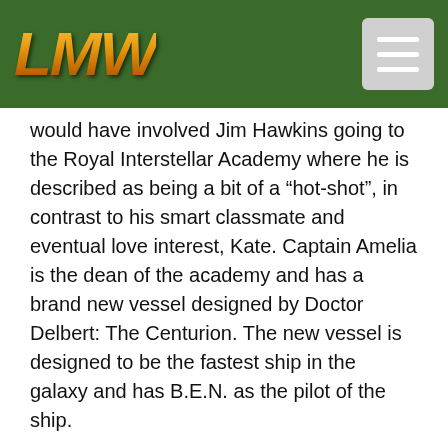LMW
would have involved Jim Hawkins going to the Royal Interstellar Academy where he is described as being a bit of a “hot-shot”, in contrast to his smart classmate and eventual love interest, Kate. Captain Amelia is the dean of the academy and has a brand new vessel designed by Doctor Delbert: The Centurion. The new vessel is designed to be the fastest ship in the galaxy and has B.E.N. as the pilot of the ship.
Soon, Jim and Kate face their new enemy, Ironbeard, who has a desire to take control of the ship. Ironbeard and his gang of pirates then hijack the ship, forcing Jim and Kate to escape the ship and find help from a pirate who can stop Ironbeard. Jim then finds help from his old friend Long John